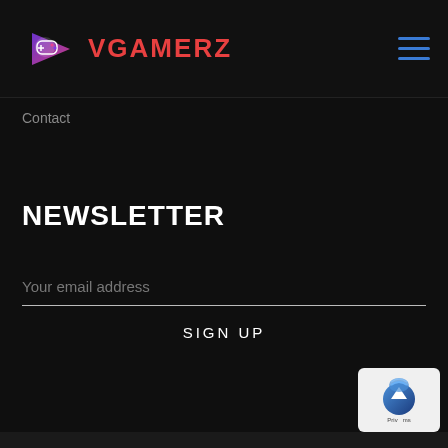VGAMERZ
Contact
NEWSLETTER
Your email address
SIGN UP
[Figure (logo): Scroll to top / privacy badge in bottom right corner]